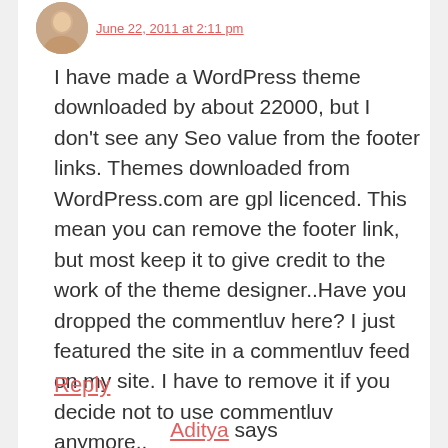[Figure (photo): Small circular avatar photo of a person]
June 22, 2011 at 2:11 pm
I have made a WordPress theme downloaded by about 22000, but I don't see any Seo value from the footer links. Themes downloaded from WordPress.com are gpl licenced. This mean you can remove the footer link, but most keep it to give credit to the work of the theme designer..Have you dropped the commentluv here? I just featured the site in a commentluv feed on my site. I have to remove it if you decide not to use commentluv anymore..
Reply
Aditya says